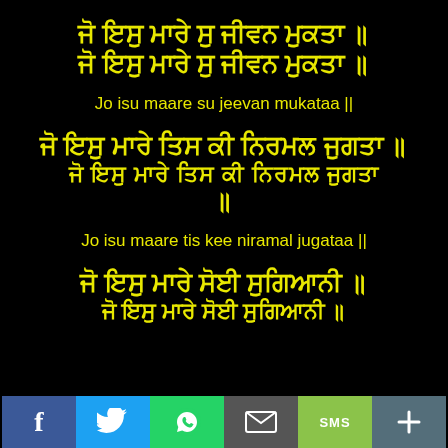ਜੋ ਇਸੁ ਮਾਰੇ ਸੁ ਜੀਵਨ ਮੁਕਤਾ ॥ ਜੋ ਇਸੁ ਮਾਰੇ ਸੁ ਜੀਵਨ ਮੁਕਤਾ ॥
Jo isu maare su jeevan mukataa ||
ਜੋ ਇਸੁ ਮਾਰੇ ਤਿਸ ਕੀ ਨਿਰਮਲ ਜੁਗਤਾ ॥ ਜੋ ਇਸੁ ਮਾਰੇ ਤਿਸ ਕੀ ਨਿਰਮਲ ਜੁਗਤਾ ॥
Jo isu maare tis kee niramal jugataa ||
ਜੋ ਇਸੁ ਮਾਰੇ ਸੋਈ ਸੁਗਿਆਨੀ ॥ ਜੋ ਇਸੁ ਮਾਰੇ ਸੋਈ ਸੁਗਿਆਨੀ ॥
[Figure (infographic): Social media share bar with Facebook, Twitter, WhatsApp, Email, SMS, and Plus buttons]